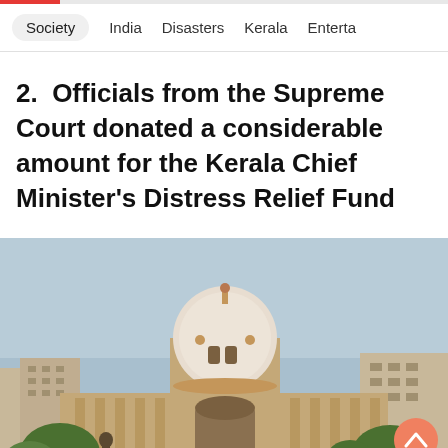Society  India  Disasters  Kerala  Enterta
2.  Officials from the Supreme Court donated a considerable amount for the Kerala Chief Minister's Distress Relief Fund
[Figure (photo): Photograph of the Supreme Court of India building with its iconic white dome, red sandstone architecture, surrounded by trees, under a light blue sky. An orange scroll-to-top button is visible in the bottom right corner.]